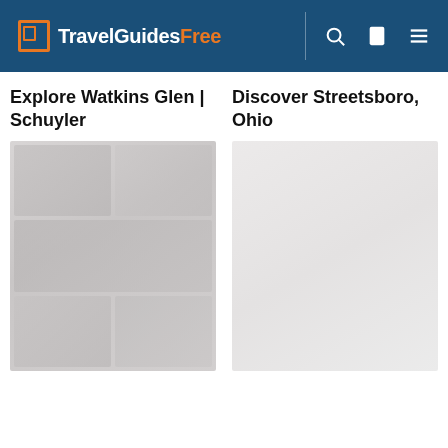TravelGuidesFree
Explore Watkins Glen | Schuyler
Discover Streetsboro, Ohio
[Figure (photo): Faded/loading thumbnail image for Watkins Glen article]
[Figure (photo): Empty/loading area for Streetsboro Ohio article]